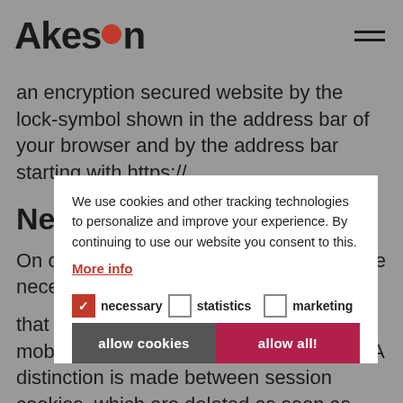Akesion
an encryption secured website by the lock-symbol shown in the address bar of your browser and by the address bar starting with https://.
Necessary Cookies
We use cookies and other tracking technologies to personalize and improve your experience. By continuing to use our website you consent to this.
More info
necessary   statistics   marketing
allow cookies   allow all!
On our website, we use cookies which are necessary in order for the site to function. Cookies are small text files that can be placed on your computer or mobile device by websites that you visit. A distinction is made between session cookies, which are deleted as soon as you close your browser, and permanent cookies, which are stored beyond the individual session. We do not use these necessary cookies for analysis, tracking or advertising purposes. In some cases, these cookies only contain